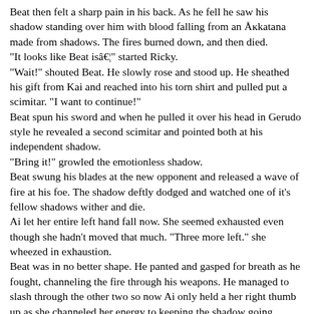Beat then felt a sharp pain in his back. As he fell he saw his shadow standing over him with blood falling from an Åkatana made from shadows. The fires burned down, and then died. "It looks like Beat isâ€¦" started Ricky. "Wait!" shouted Beat. He slowly rose and stood up. He sheathed his gift from Kai and reached into his torn shirt and pulled put a scimitar. "I want to continue!" Beat spun his sword and when he pulled it over his head in Gerudo style he revealed a second scimitar and pointed both at his independent shadow. "Bring it!" growled the emotionless shadow. Beat swung his blades at the new opponent and released a wave of fire at his foe. The shadow deftly dodged and watched one of it's fellow shadows wither and die. Ai let her entire left hand fall now. She seemed exhausted even though she hadn't moved that much. "Three more left." she wheezed in exhaustion. Beat was in no better shape. He panted and gasped for breath as he fought, channeling the fire through his weapons. He managed to slash through the other two so now Ai only held a her right thumb up as she channeled her energy to keeping the shadow going. "Tired?" snickered the shadow. "A little." gasped Beat as he fell to the ground. He then erupted in flames, and left a burn mark in the hardened earth. "That wasâ€¦" started the shadow before it felt a burning hot